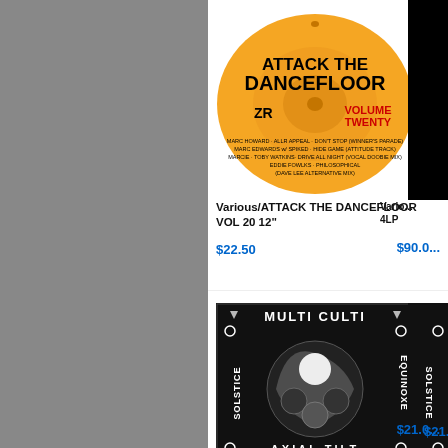[Figure (photo): Gray sidebar panel on the left side of the page]
[Figure (photo): Orange vinyl record label for Attack the Dancefloor Volume Twenty by ZR Records]
Various/ATTACK THE DANCEFLOOR VOL 20 12"
$22.50
[Figure (photo): Partially visible black album cover on the right, cut off]
Vario... 4LP
$90.0...
[Figure (photo): Multi Culti - Axial Tilt Part 3 EP 12 inch record cover, black background with moon phases and circular design]
Various/AXIAL TILT PART 3 EP 12"
$21.00
[Figure (photo): Partially visible album cover on the right, similar Multi Culti style, cut off]
Vario...
$21.0...